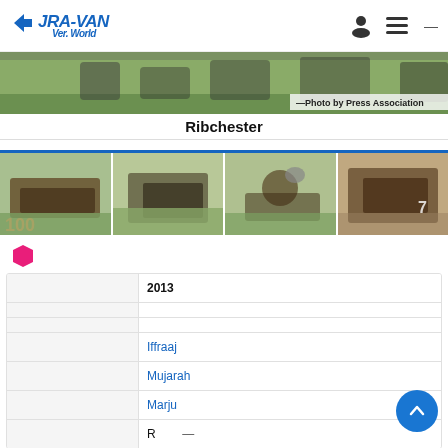JRA-VAN Ver. World
[Figure (photo): Horse racing photo banner with caption 'Photo by Press Association']
Ribchester
[Figure (photo): Row of four horse racing thumbnail photos]
[Figure (other): Pink hexagon bullet point indicator]
|  | 2013 |
| --- | --- |
|  |  |
|  |  |
|  | Iffraaj |
|  | Mujarah |
|  | Marju |
|  | R  — |